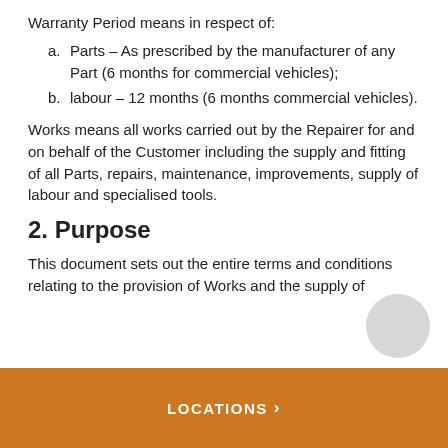Warranty Period means in respect of:
a. Parts – As prescribed by the manufacturer of any Part (6 months for commercial vehicles);
b. labour – 12 months (6 months commercial vehicles).
Works means all works carried out by the Repairer for and on behalf of the Customer including the supply and fitting of all Parts, repairs, maintenance, improvements, supply of labour and specialised tools.
2. Purpose
This document sets out the entire terms and conditions relating to the provision of Works and the supply of
LOCATIONS >